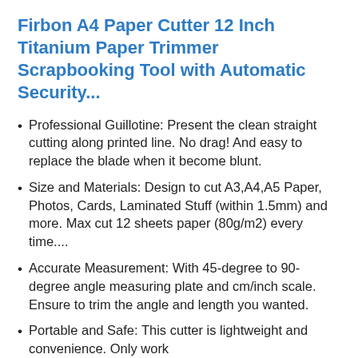Firbon A4 Paper Cutter 12 Inch Titanium Paper Trimmer Scrapbooking Tool with Automatic Security...
Professional Guillotine: Present the clean straight cutting along printed line. No drag! And easy to replace the blade when it become blunt.
Size and Materials: Design to cut A3,A4,A5 Paper, Photos, Cards, Laminated Stuff (within 1.5mm) and more. Max cut 12 sheets paper (80g/m2) every time....
Accurate Measurement: With 45-degree to 90-degree angle measuring plate and cm/inch scale. Ensure to trim the angle and length you wanted.
Portable and Safe: This cutter is lightweight and convenience. Only work